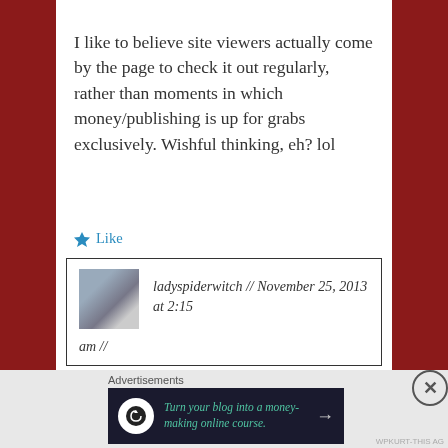I like to believe site viewers actually come by the page to check it out regularly, rather than moments in which money/publishing is up for grabs exclusively. Wishful thinking, eh? lol
Like
ladyspiderwitch // November 25, 2013 at 2:15 am //
Advertisements
[Figure (infographic): Dark advertisement banner: 'Turn your blog into a money-making online course.' with arrow icon]